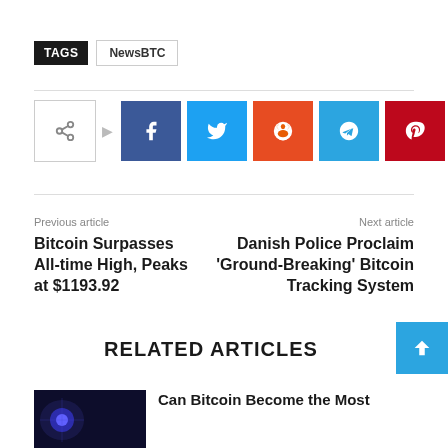TAGS  NewsBTC
[Figure (infographic): Social share buttons: share icon, Facebook, Twitter, Reddit, Telegram, Pinterest, WhatsApp]
Previous article
Bitcoin Surpasses All-time High, Peaks at $1193.92
Next article
Danish Police Proclaim ‘Ground-Breaking’ Bitcoin Tracking System
RELATED ARTICLES
Can Bitcoin Become the Most